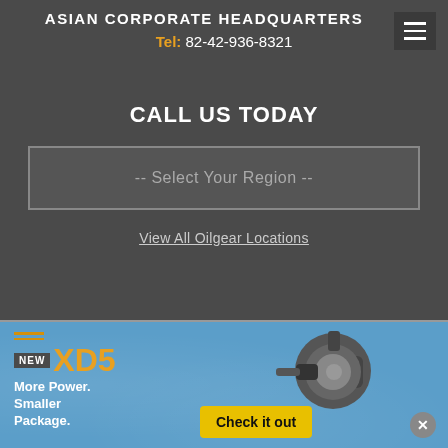ASIAN CORPORATE HEADQUARTERS
Tel: 82-42-936-8321
CALL US TODAY
-- Select Your Region --
View All Oilgear Locations
[Figure (infographic): Advertisement banner for NEW XD5 product – 'More Power. Smaller Package.' with a Check it out button and a hydraulic pump image on a blue textured background]